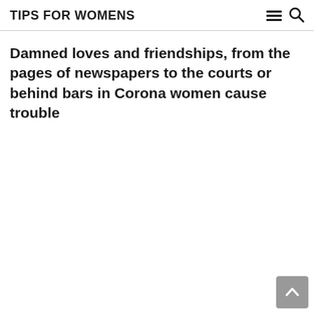TIPS FOR WOMENS
Damned loves and friendships, from the pages of newspapers to the courts or behind bars in Corona women cause trouble